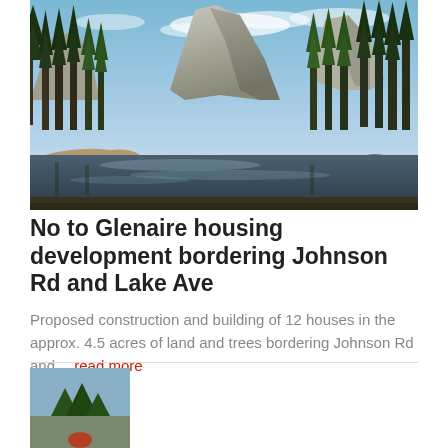[Figure (photo): Outdoor nature photograph showing a river or lake with large granite cliff faces and tall conifer trees, blue sky with clouds — reminiscent of Yosemite Valley.]
No to Glenaire housing development bordering Johnson Rd and Lake Ave
Proposed construction and building of 12 houses in the approx. 4.5 acres of land and trees bordering Johnson Rd and… read more
[Figure (photo): Partial view of a second article's thumbnail photo at the bottom of the page.]